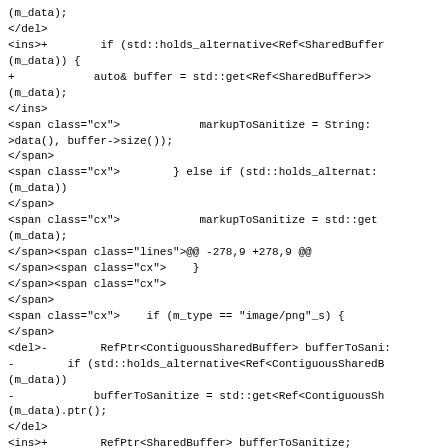Code diff showing changes to SharedBuffer references and sanitization logic in C++ source